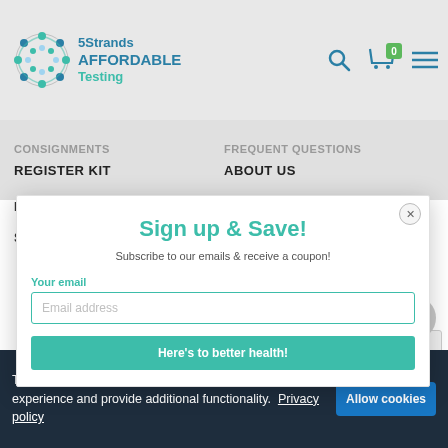[Figure (logo): 5Strands Affordable Testing logo with circular DNA strand icon and teal/blue text]
CONSIGNMENTS   FREQUENT QUESTIONS
REGISTER KIT   ABOUT US
Sign up & Save!
Subscribe to our emails & receive a coupon!
Your email
Email address
Here's to better health!
PRIVACY POLICY
SHIPPING POLICY
Your email...
This website makes use of cookies to enhance browsing experience and provide additional functionality.  Privacy policy
Allow cookies